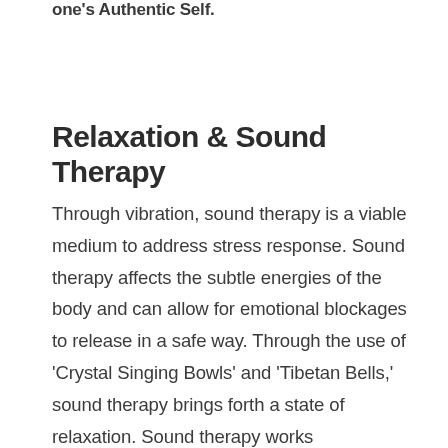one's Authentic Self.
Relaxation & Sound Therapy
Through vibration, sound therapy is a viable medium to address stress response. Sound therapy affects the subtle energies of the body and can allow for emotional blockages to release in a safe way. Through the use of 'Crystal Singing Bowls' and 'Tibetan Bells,' sound therapy brings forth a state of relaxation. Sound therapy works